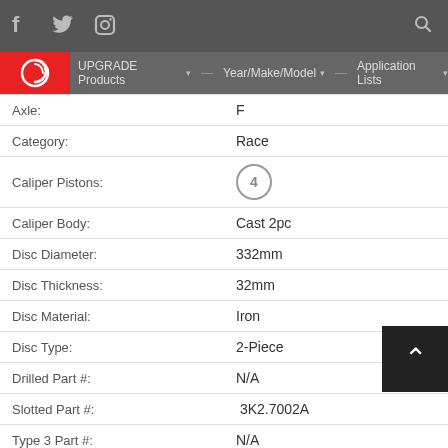f  Twitter  Instagram  [search]  UPGRADE Products  Year/Make/Model  Application Lists
| Field | Value |
| --- | --- |
| Axle: | F |
| Category: | Race |
| Caliper Pistons: | 4 |
| Caliper Body: | Cast 2pc |
| Disc Diameter: | 332mm |
| Disc Thickness: | 32mm |
| Disc Material: | Iron |
| Disc Type: | 2-Piece |
| Drilled Part #: | N/A |
| Slotted Part #: | 3K2.7002A |
| Type 3 Part #: | N/A |
| Notes: |  |
| Price: | $4,295.00 |
| Make: | Porsche |